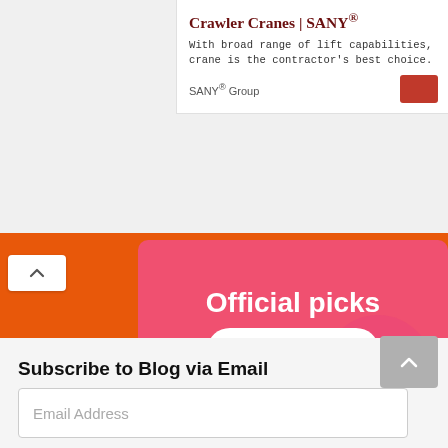[Figure (screenshot): Ad card in top-right corner showing 'Crawler Cranes | SANY®' advertisement with description text, SANY® Group source label, and a red button.]
[Figure (infographic): Orange background with pink promotional banner reading 'Official picks' and 'Shop now' button with product images including a robot vacuum, gaming console, and Nintendo Switch controller.]
Subscribe to Blog via Email
Email Address